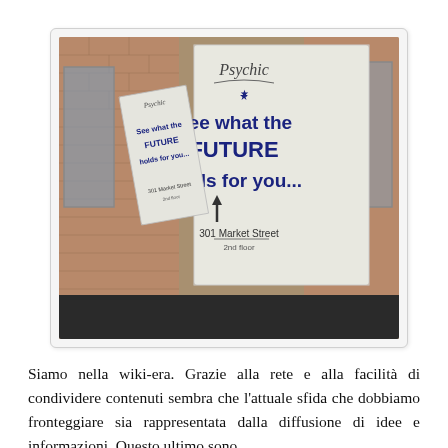[Figure (photo): Photograph of a building exterior showing two psychic shop signs mounted on a brick wall. The main sign reads 'Psychic - See what the FUTURE holds for you... 301 Market Street 2nd floor' with an upward arrow. A smaller sign on the left shows the same message at an angle.]
Siamo nella wiki-era. Grazie alla rete e alla facilità di condividere contenuti sembra che l'attuale sfida che dobbiamo fronteggiare sia rappresentata dalla diffusione di idee e informazioni. Questo ultimo sono